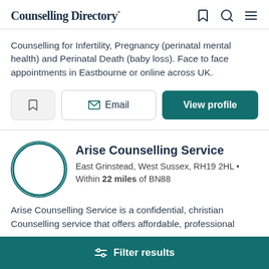Counselling Directory
Counselling for Infertility, Pregnancy (perinatal mental health) and Perinatal Death (baby loss). Face to face appointments in Eastbourne or online across UK.
Arise Counselling Service
East Grinstead, West Sussex, RH19 2HL • Within 22 miles of BN88
Arise Counselling Service is a confidential, christian Counselling service that offers affordable, professional
Filter results